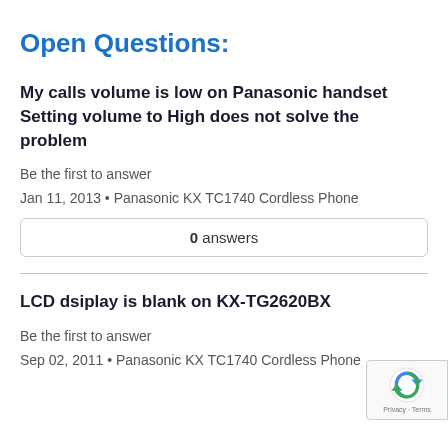Open Questions:
My calls volume is low on Panasonic handset Setting volume to High does not solve the problem
Be the first to answer
Jan 11, 2013 • Panasonic KX TC1740 Cordless Phone
0 answers
LCD dsiplay is blank on KX-TG2620BX
Be the first to answer
Sep 02, 2011 • Panasonic KX TC1740 Cordless Phone